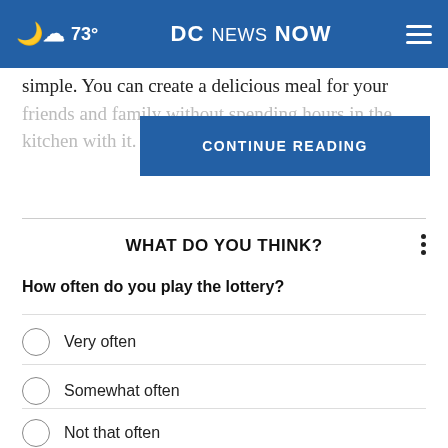73° DC NEWS NOW
simple. You can create a delicious meal for your friends and family without spending hours in the kitchen with i
CONTINUE READING
WHAT DO YOU THINK?
How often do you play the lottery?
Very often
Somewhat often
Not that often
Not often at all
Other / Does not apply